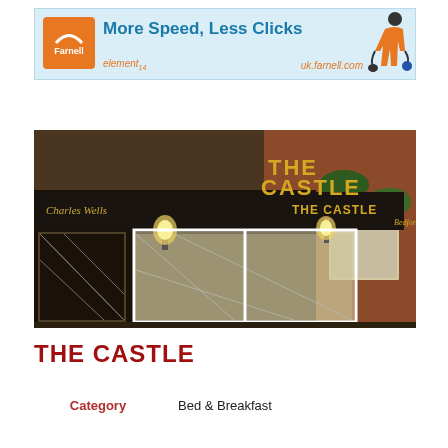[Figure (illustration): Farnell element14 advertisement banner: orange Farnell logo on left, bold teal text 'More Speed, Less Clicks', orange italic text 'element14' bottom left, orange italic text 'uk.farnell.com' bottom right, cartoon figure of woman with shopping bags on right.]
[Figure (photo): Exterior photograph of 'The Castle' pub, a Charles Wells establishment. Dark signage reads 'THE CASTLE' with warm lamp lighting. Red brick building with white-framed windows featuring diamond lattice patterns. Hanging flower baskets visible.]
THE CASTLE
Category    Bed & Breakfast